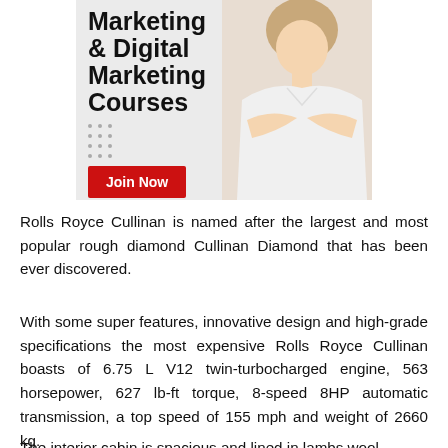[Figure (illustration): Advertisement banner for Marketing & Digital Marketing Courses showing a woman with arms crossed and a red 'Join Now' button]
Rolls Royce Cullinan is named after the largest and most popular rough diamond Cullinan Diamond that has been ever discovered.
With some super features, innovative design and high-grade specifications the most expensive Rolls Royce Cullinan boasts of 6.75 L V12 twin-turbocharged engine, 563 horsepower, 627 lb-ft torque, 8-speed 8HP automatic transmission, a top speed of 155 mph and weight of 2660 kg.
The interior cabin is spacious and lined in lambs wool